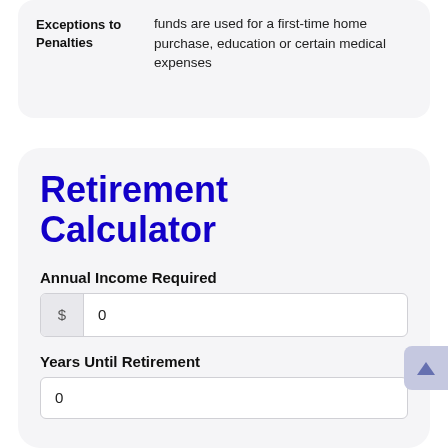|  |  |
| --- | --- |
| Exceptions to Penalties | Some exceptions are made if funds are used for a first-time home purchase, education or certain medical expenses |
Retirement Calculator
Annual Income Required
$ 0
Years Until Retirement
0